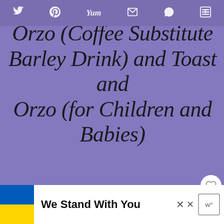Social share bar: Twitter, Pinterest, Yummly, Email, WhatsApp, Flipboard
Orzo (Coffee Substitute Barley Drink) and Toast and Orzo (for Children and Babies)
yield: 1 MUG  prep time: 2 MINUTES  cook time: 8 MINUTES  total time: 10 MINUTES
An Italian barley beverage which is a coffee substitute which tastes really good!
[Figure (other): What's Next panel showing Cinnamon French Toas... with food thumbnail]
[Figure (infographic): We Stand With You ad banner with Ukrainian flag colors (blue and yellow)]